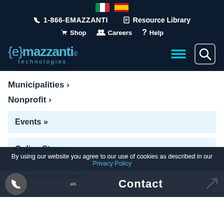[Figure (screenshot): eMazzanti Technologies website header with flag icons, phone number, navigation links, logo, hamburger menu, and search icon]
Municipalities ›
Nonprofit ›
Events »
Online Store »
Resource Library »
Blog »
By using our website you agree to our use of cookies as described in our Privacy Policy
Contact